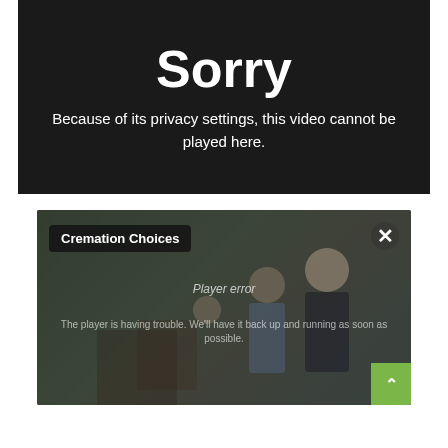[Figure (screenshot): Video player error screen with dark background showing 'Sorry' message about privacy settings preventing playback]
Sorry
Because of its privacy settings, this video cannot be played here.
[Figure (screenshot): Second video player showing 'Cremation Choices' label with an X close button, partially visible video of people, a player error overlay, and a green scroll-up button in the bottom right corner]